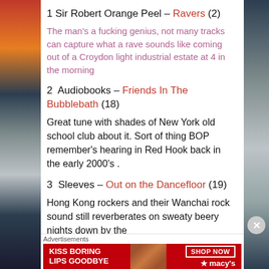1 Sir Robert Orange Peel – Ravers (2)
The man's a fucking genius, not many tracks can capture what a rave sounds like coming out of a Croydon light industrial estate at 4 in the morning
2  Audiobooks – Friends In The Bubblebath (18)
Great tune with shades of New York old school club about it. Sort of thing BOP remember's hearing in Red Hook back in the early 2000's .
3  Sleeves – Out on the Dancefloor (19)
Hong Kong rockers and their Wanchai rock sound still reverberates on sweaty beery nights down by the
Advertisements
[Figure (infographic): Macy's advertisement banner: KISS BORING LIPS GOODBYE with SHOP NOW button and Macy's star logo]